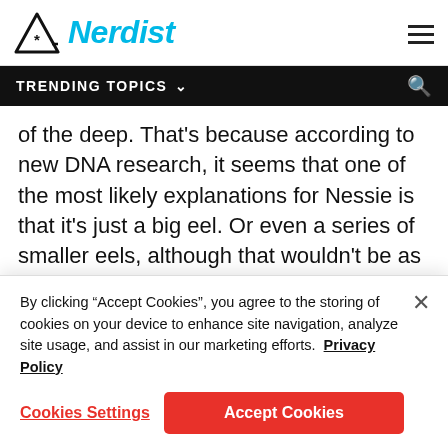Nerdist
TRENDING TOPICS
of the deep. That's because according to new DNA research, it seems that one of the most likely explanations for Nessie is that it's just a big eel. Or even a series of smaller eels, although that wouldn't be as big of an eel deal.
[Figure (screenshot): Embedded tweet from Trvl Channel with Twitter bird icon and verified badge]
By clicking “Accept Cookies”, you agree to the storing of cookies on your device to enhance site navigation, analyze site usage, and assist in our marketing efforts. Privacy Policy
Cookies Settings | Accept Cookies